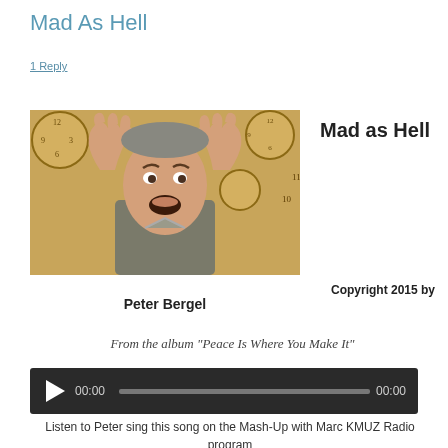Mad As Hell
1 Reply
[Figure (photo): A man with hands raised expressively near his head, with clocks visible in the background, appearing agitated or angry.]
Mad as Hell
Copyright 2015 by
Peter Bergel
From the album “Peace Is Where You Make It”
[Figure (screenshot): Audio player bar with play button, time display 00:00, progress bar, and end time 00:00 on dark background.]
Listen to Peter sing this song on the Mash-Up with Marc KMUZ Radio program